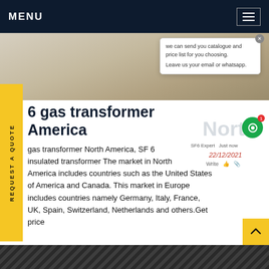MENU
[Figure (photo): Partial view of a ground surface with canvas/tarpaulin material, sandy soil visible in the background — hero image for transformer article]
SF6 gas transformer North America
SF6 gas transformer North America, SF6 insulated transformer The market in North America includes countries such as the United States of America and Canada. This market in Europe includes countries namely Germany, Italy, France, UK, Spain, Switzerland, Netherlands and others. Get price